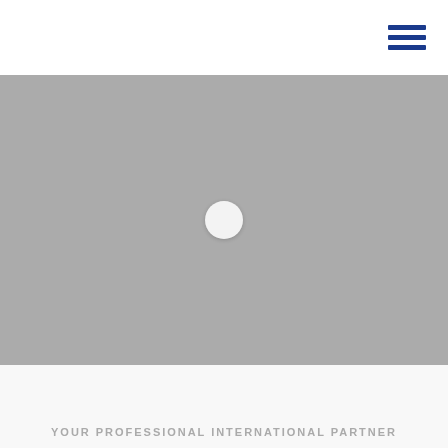[Figure (screenshot): Large grey hero image placeholder with a circular white play button centered in the middle, representing a video thumbnail or loading image.]
YOUR PROFESSIONAL INTERNATIONAL PARTNER